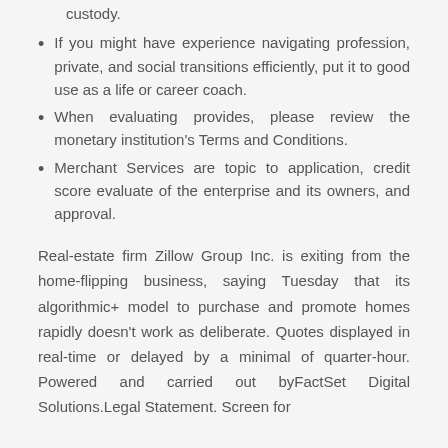custody.
If you might have experience navigating profession, private, and social transitions efficiently, put it to good use as a life or career coach.
When evaluating provides, please review the monetary institution's Terms and Conditions.
Merchant Services are topic to application, credit score evaluate of the enterprise and its owners, and approval.
Real-estate firm Zillow Group Inc. is exiting from the home-flipping business, saying Tuesday that its algorithmic+ model to purchase and promote homes rapidly doesn't work as deliberate. Quotes displayed in real-time or delayed by a minimal of quarter-hour. Powered and carried out byFactSet Digital Solutions.Legal Statement. Screen for